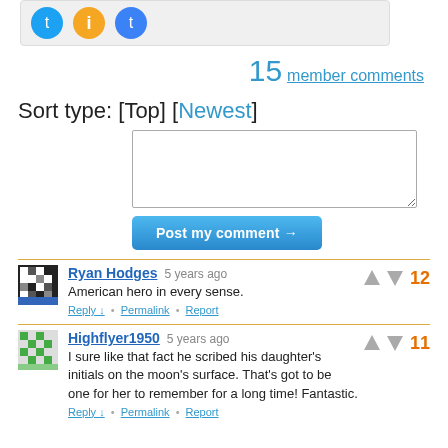[Figure (screenshot): Social share icons (Twitter blue, orange info, blue Twitter) in a gray rounded container]
15 member comments
Sort type: [Top] [Newest]
[Figure (screenshot): Comment text input textarea (empty)]
[Figure (screenshot): Post my comment button (blue)]
Ryan Hodges 5 years ago — American hero in every sense. — Reply • Permalink • Report — vote: 12
Highflyer1950 5 years ago — I sure like that fact he scribed his daughter's initials on the moon's surface. That's got to be one for her to remember for a long time! Fantastic. — Reply • Permalink • Report — vote: 11